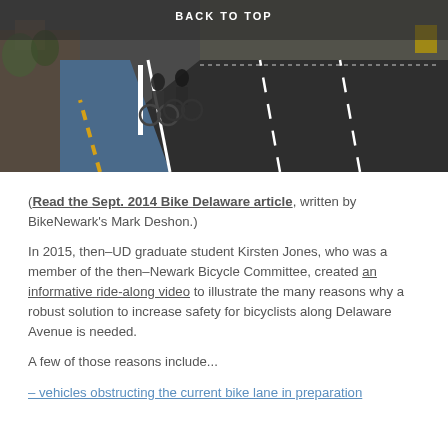[Figure (photo): Photo of two bicyclists riding in a protected blue bike lane on a road, with white posts separating the bike lane from the road. Yellow dashed lines on the left, white lane markings on the road. Trees and buildings in background. 'BACK TO TOP' text overlay at top center.]
(Read the Sept. 2014 Bike Delaware article, written by BikeNewark's Mark Deshon.)
In 2015, then–UD graduate student Kirsten Jones, who was a member of the then–Newark Bicycle Committee, created an informative ride-along video to illustrate the many reasons why a robust solution to increase safety for bicyclists along Delaware Avenue is needed.
A few of those reasons include...
– vehicles obstructing the current bike lane in preparation